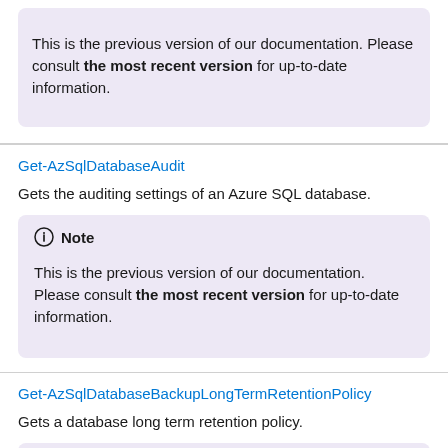This is the previous version of our documentation. Please consult the most recent version for up-to-date information.
Get-AzSqlDatabaseAudit
Gets the auditing settings of an Azure SQL database.
Note
This is the previous version of our documentation. Please consult the most recent version for up-to-date information.
Get-AzSqlDatabaseBackupLongTermRetentionPolicy
Gets a database long term retention policy.
Note